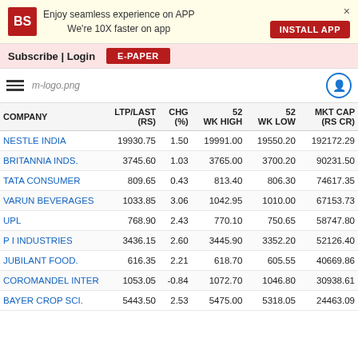[Figure (screenshot): Business Standard app banner with BS logo, text 'Enjoy seamless experience on APP We're 10X faster on app', INSTALL APP button, and close X]
Subscribe | Login   E-PAPER
[Figure (logo): Hamburger menu, m-logo.png placeholder, and user icon]
| COMPANY | LTP/LAST (RS) | CHG (%) | 52 WK HIGH | 52 WK LOW | MKTCAP (RS CR) |
| --- | --- | --- | --- | --- | --- |
| NESTLE INDIA | 19930.75 | 1.50 | 19991.00 | 19550.20 | 192172.29 |
| BRITANNIA INDS. | 3745.60 | 1.03 | 3765.00 | 3700.20 | 90231.50 |
| TATA CONSUMER | 809.65 | 0.43 | 813.40 | 806.30 | 74617.35 |
| VARUN BEVERAGES | 1033.85 | 3.06 | 1042.95 | 1010.00 | 67153.73 |
| UPL | 768.90 | 2.43 | 770.10 | 750.65 | 58747.80 |
| P I INDUSTRIES | 3436.15 | 2.60 | 3445.90 | 3352.20 | 52126.40 |
| JUBILANT FOOD. | 616.35 | 2.21 | 618.70 | 605.55 | 40669.86 |
| COROMANDEL INTER | 1053.05 | -0.84 | 1072.70 | 1046.80 | 30938.61 |
| BAYER CROP SCI. | 5443.50 | 2.53 | 5475.00 | 5318.05 | 24463.09 |